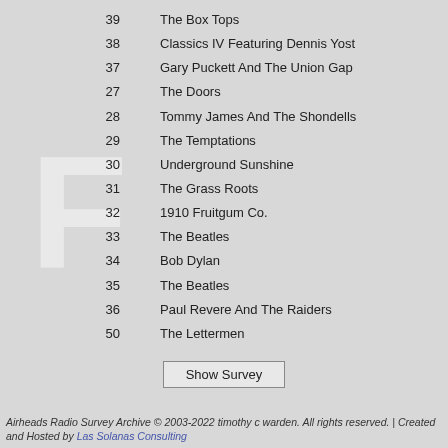39   The Box Tops
38   Classics IV Featuring Dennis Yost
37   Gary Puckett And The Union Gap
27   The Doors
28   Tommy James And The Shondells
29   The Temptations
30   Underground Sunshine
31   The Grass Roots
32   1910 Fruitgum Co.
33   The Beatles
34   Bob Dylan
35   The Beatles
36   Paul Revere And The Raiders
50   The Lettermen
Airheads Radio Survey Archive © 2003-2022 timothy c warden. All rights reserved. | Created and Hosted by Las Solanas Consulting